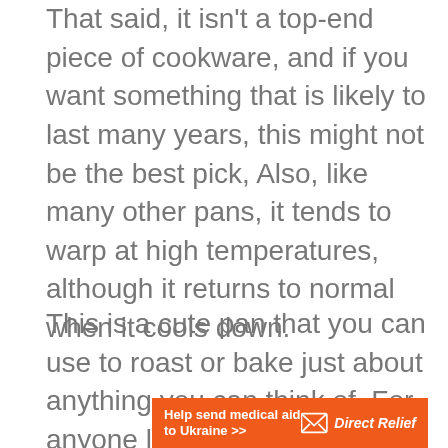That said, it isn't a top-end piece of cookware, and if you want something that is likely to last many years, this might not be the best pick, Also, like many other pans, it tends to warp at high temperatures, although it returns to normal when it cools down.
This is a cute pan that you can use to roast or bake just about anything you can think of. For anyone looking for a pan at the lower end of the price range, this one could be an obvious choice to
[Figure (other): Orange advertisement banner for Direct Relief: 'Help send medical aid to Ukraine >>' with Direct Relief logo (envelope icon) on the right.]